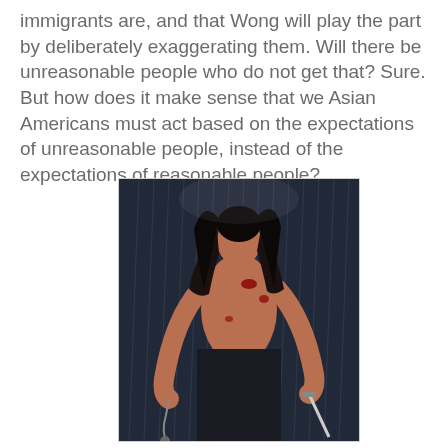immigrants are, and that Wong will play the part by deliberately exaggerating them. Will there be unreasonable people who do not get that? Sure. But how does it make sense that we Asian Americans must act based on the expectations of unreasonable people, instead of the expectations of reasonable people?
[Figure (photo): A shirtless male warrior figure standing in rain, viewed from behind, holding weapons in both hands — a chain weapon in his left hand and a sword in his right. He has long dark hair and visible wounds. The scene is dark and cinematic.]